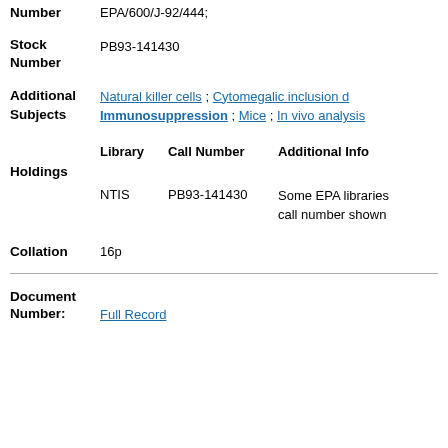Number
EPA/600/J-92/444;
Stock Number
PB93-141430
Additional Subjects
Natural killer cells ; Cytomegalic inclusion d... ; Immunosuppression ; Mice ; In vivo analysis...
| Library | Call Number | Additional Info |
| --- | --- | --- |
| NTIS | PB93-141430 | Some EPA libraries call number shown |
Holdings
Collation
16p
Document Number:
Full Record